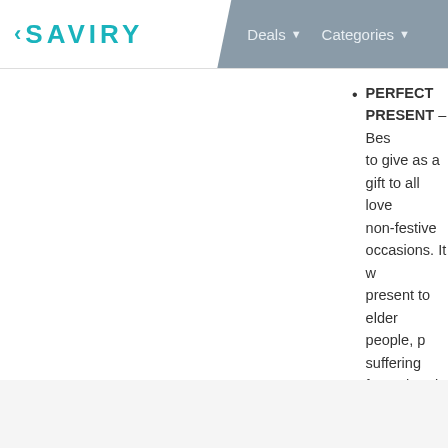< SAVIRY   Deals ▾  Categories ▾
PERFECT PRESENT – Best to give as a gift to all love non-festive occasions. It w present to elder people, p suffering from chronic pai
Category: Home & Kitchen
Posted on 27 May 2022, 3:08 PM
posted by  1Sale Deals
27 May 2022, 3:08 PM